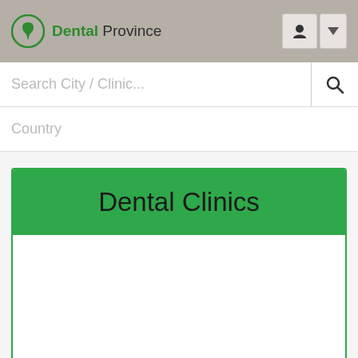Dental Province
Search City / Clinic...
Country
Dental Clinics